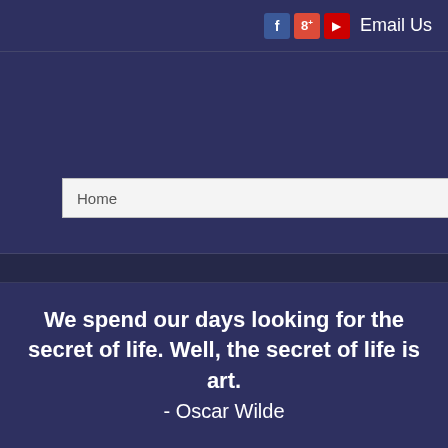Email Us
Home
We spend our days looking for the secret of life. Well, the secret of life is art.
- Oscar Wilde